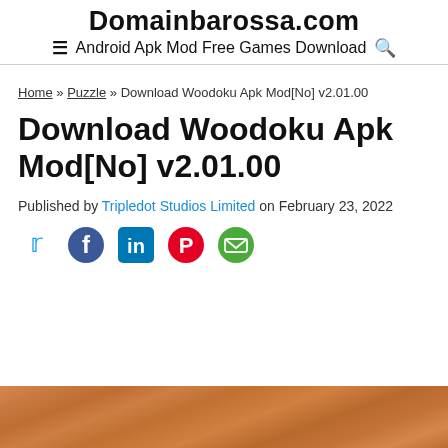Domainbarossa.com
≡ Android Apk Mod Free Games Download 🔍
Home » Puzzle » Download Woodoku Apk Mod[No] v2.01.00
Download Woodoku Apk Mod[No] v2.01.00
Published by Tripledot Studios Limited on February 23, 2022
[Figure (other): Social sharing icons: Twitter (blue bird), Facebook (blue circle), LinkedIn (blue square), Pinterest (red circle), Email (green envelope)]
[Figure (photo): Wood texture background image, warm orange-brown tones]